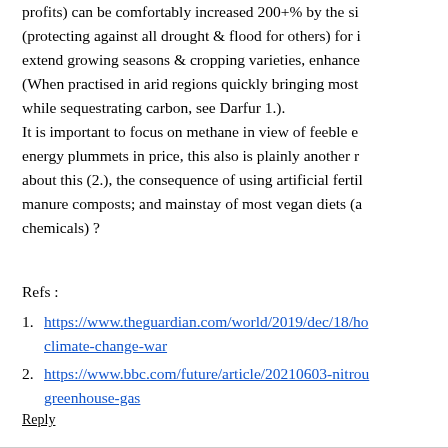profits) can be comfortably increased 200+% by the si (protecting against all drought & flood for others) for i extend growing seasons & cropping varieties, enhance (When practised in arid regions quickly bringing most while sequestrating carbon, see Darfur 1.). It is important to focus on methane in view of feeble e energy plummets in price, this also is plainly another r about this (2.), the consequence of using artificial fertil manure composts; and mainstay of most vegan diets (a chemicals) ?
Refs :
1. https://www.theguardian.com/world/2019/dec/18/ho climate-change-war
2. https://www.bbc.com/future/article/20210603-nitrou greenhouse-gas
Reply